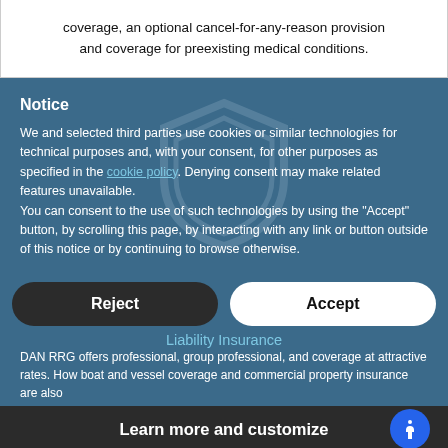coverage, an optional cancel-for-any-reason provision and coverage for preexisting medical conditions.
Notice
We and selected third parties use cookies or similar technologies for technical purposes and, with your consent, for other purposes as specified in the cookie policy. Denying consent may make related features unavailable.
You can consent to the use of such technologies by using the "Accept" button, by scrolling this page, by interacting with any link or button outside of this notice or by continuing to browse otherwise.
Liability Insurance
DAN RRG offers professional, group professional, and coverage at attractive rates. How boat and vessel coverage and commercial property insurance are also